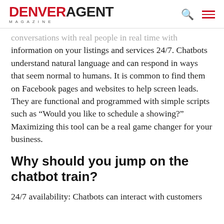DENVER AGENT MAGAZINE
conversations with real people in real time with information on your listings and services 24/7. Chatbots understand natural language and can respond in ways that seem normal to humans. It is common to find them on Facebook pages and websites to help screen leads. They are functional and programmed with simple scripts such as “Would you like to schedule a showing?” Maximizing this tool can be a real game changer for your business.
Why should you jump on the chatbot train?
24/7 availability: Chatbots can interact with customers